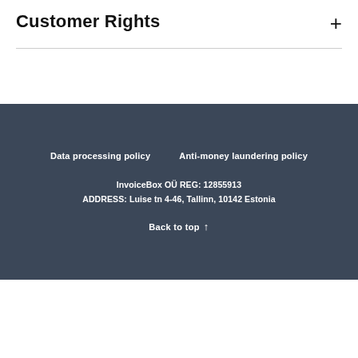Customer Rights
Data processing policy   Anti-money laundering policy
InvoiceBox OÜ REG: 12855913
ADDRESS: Luise tn 4-46, Tallinn, 10142 Estonia
Back to top ↑